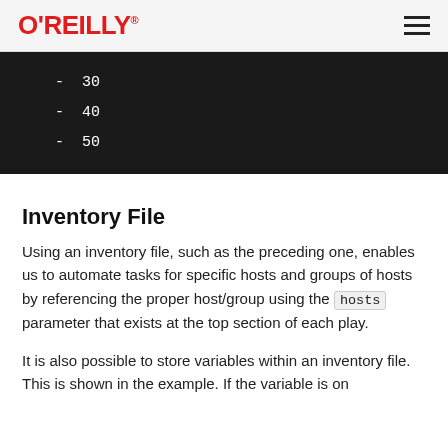O'REILLY
- 30
- 40
- 50
Inventory File
Using an inventory file, such as the preceding one, enables us to automate tasks for specific hosts and groups of hosts by referencing the proper host/group using the hosts parameter that exists at the top section of each play.
It is also possible to store variables within an inventory file. This is shown in the example. If the variable is on